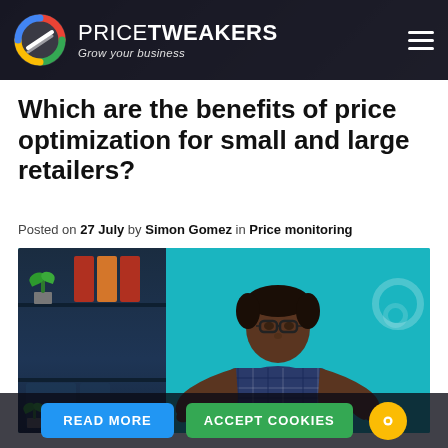PRICETWEAKERS — Grow your business
Which are the benefits of price optimization for small and large retailers?
Posted on 27 July by Simon Gomez in Price monitoring
[Figure (photo): Man with glasses giving two thumbs down, standing in front of teal background with bookshelf on the left]
READ MORE   ACCEPT COOKIES